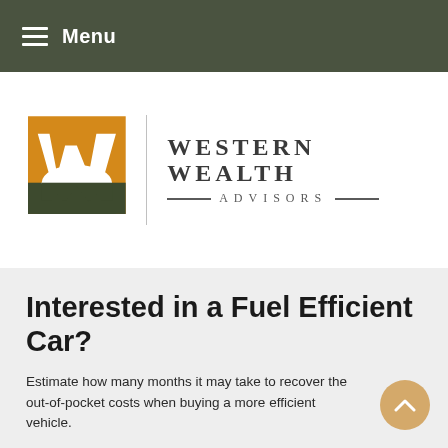Menu
[Figure (logo): Western Wealth Advisors logo: orange square with stylized W above dark green mountain silhouette, flanked by a vertical line and the text WESTERN WEALTH ADVISORS]
Interested in a Fuel Efficient Car?
Estimate how many months it may take to recover the out-of-pocket costs when buying a more efficient vehicle.